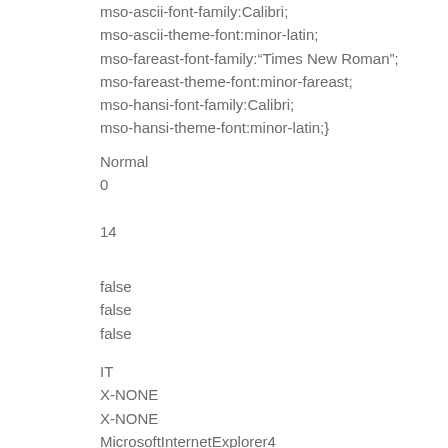mso-ascii-font-family:Calibri;
mso-ascii-theme-font:minor-latin;
mso-fareast-font-family:“Times New Roman”;
mso-fareast-theme-font:minor-fareast;
mso-hansi-font-family:Calibri;
mso-hansi-theme-font:minor-latin;}
Normal
0
14
false
false
false
IT
X-NONE
X-NONE
MicrosoftInternetExplorer4